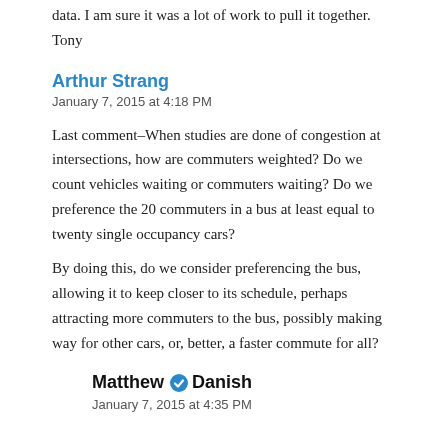data. I am sure it was a lot of work to pull it together.
Tony
Arthur Strang
January 7, 2015 at 4:18 PM
Last comment–When studies are done of congestion at intersections, how are commuters weighted? Do we count vehicles waiting or commuters waiting? Do we preference the 20 commuters in a bus at least equal to twenty single occupancy cars?
By doing this, do we consider preferencing the bus, allowing it to keep closer to its schedule, perhaps attracting more commuters to the bus, possibly making way for other cars, or, better, a faster commute for all?
Matthew Danish
January 7, 2015 at 4:35 PM